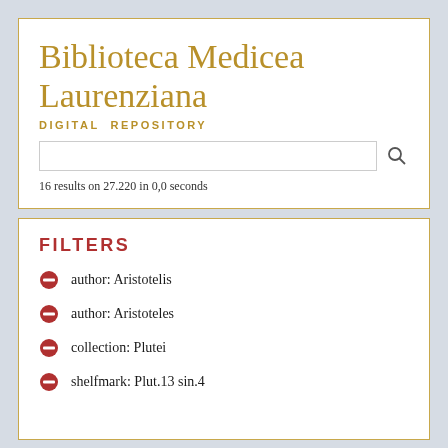Biblioteca Medicea Laurenziana
DIGITAL REPOSITORY
16 results on 27.220 in 0,0 seconds
FILTERS
author: Aristotelis
author: Aristoteles
collection: Plutei
shelfmark: Plut.13 sin.4